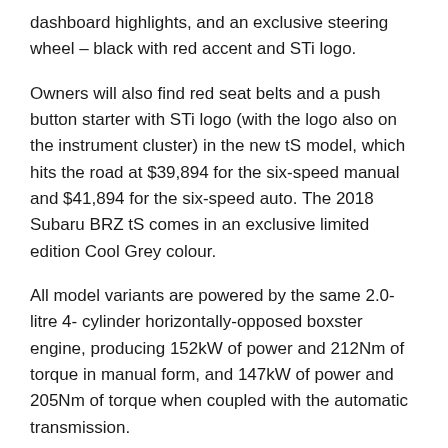dashboard highlights, and an exclusive steering wheel – black with red accent and STi logo.
Owners will also find red seat belts and a push button starter with STi logo (with the logo also on the instrument cluster) in the new tS model, which hits the road at $39,894 for the six-speed manual and $41,894 for the six-speed auto. The 2018 Subaru BRZ tS comes in an exclusive limited edition Cool Grey colour.
All model variants are powered by the same 2.0-litre 4-cylinder horizontally-opposed boxster engine, producing 152kW of power and 212Nm of torque in manual form, and 147kW of power and 205Nm of torque when coupled with the automatic transmission.
All Subaru BRZ models are available in Crystal White Pearl, Ice Silver Metallic, Dark Gray Metallic, Crystal Black Silica...